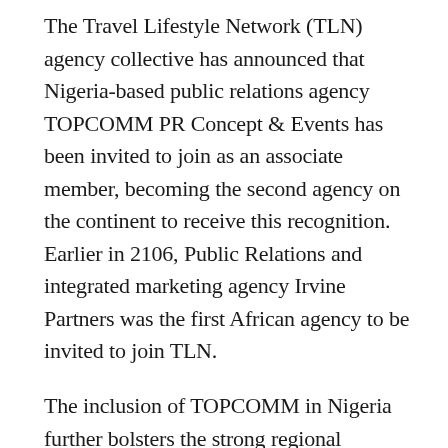The Travel Lifestyle Network (TLN) agency collective has announced that Nigeria-based public relations agency TOPCOMM PR Concept & Events has been invited to join as an associate member, becoming the second agency on the continent to receive this recognition. Earlier in 2106, Public Relations and integrated marketing agency Irvine Partners was the first African agency to be invited to join TLN.
The inclusion of TOPCOMM in Nigeria further bolsters the strong regional presence commanded by Irvine Partners within the specialist tourism and lifestyle public relations environment.
Continental heavyweights South Africa and Nigeria commandeer the southern and western markets respectively, and agency presence in both countries